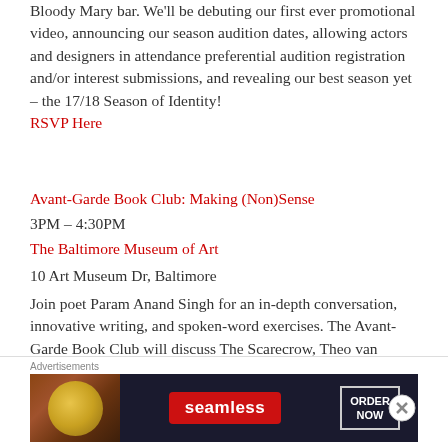Bloody Mary bar. We'll be debuting our first ever promotional video, announcing our season audition dates, allowing actors and designers in attendance preferential audition registration and/or interest submissions, and revealing our best season yet – the 17/18 Season of Identity!
RSVP Here
Avant-Garde Book Club: Making (Non)Sense
3PM – 4:30PM
The Baltimore Museum of Art
10 Art Museum Dr, Baltimore
Join poet Param Anand Singh for an in-depth conversation, innovative writing, and spoken-word exercises. The Avant-Garde Book Club will discuss The Scarecrow, Theo van Doesburg, and Kurt Schwitters [reprinted in this publication:
Advertisements
[Figure (other): Seamless food delivery advertisement banner with pizza image on left, Seamless red logo in center, and ORDER NOW button on right, on dark background]